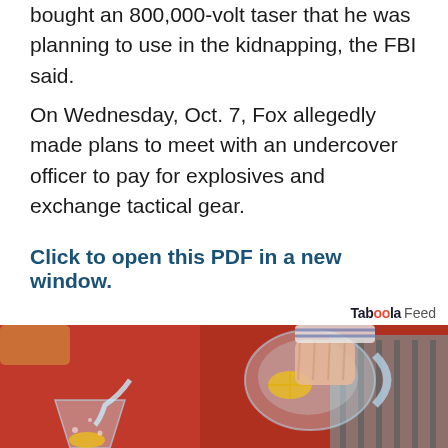bought an 800,000-volt taser that he was planning to use in the kidnapping, the FBI said.
On Wednesday, Oct. 7, Fox allegedly made plans to meet with an undercover officer to pay for explosives and exchange tactical gear.
Click to open this PDF in a new window.
Taboola Feed
[Figure (photo): Person in red sweater pouring water from a glass pitcher into a glass with lemon slices]